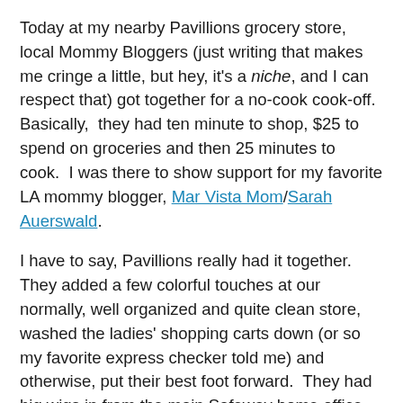Today at my nearby Pavillions grocery store, local Mommy Bloggers (just writing that makes me cringe a little, but hey, it's a niche, and I can respect that) got together for a no-cook cook-off.  Basically,  they had ten minute to shop, $25 to spend on groceries and then 25 minutes to cook.  I was there to show support for my favorite LA mommy blogger, Mar Vista Mom/Sarah Auerswald.
I have to say, Pavillions really had it together.  They added a few colorful touches at our normally, well organized and quite clean store, washed the ladies' shopping carts down (or so my favorite express checker told me) and otherwise, put their best foot forward.  They had big wigs in from the main Safeway home office as well as from our nearby Vons home office.
They set the ladies up outside and thankfully, it was a gorgeous day out today.  Tara, the “lifestyle expert” (sorry, I didn’t catch more than that) they got to emcee the cook off